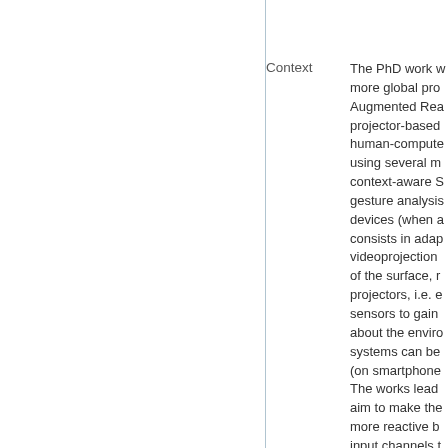Context
The PhD work w more global pro Augmented Rea projector-based human-compute using several m context-aware S gesture analysis devices (when a consists in adap videoprojection of the surface, r projectors, i.e. e sensors to gain about the enviro systems can be (on smartphone The works lead aim to make the more reactive b input channels t analysis techni analysis and us and more intera